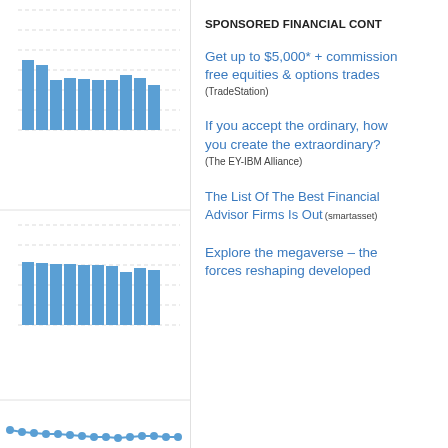[Figure (bar-chart): Two bar charts (truncated, left column) and a line chart (partial, bottom of left column), all showing blue bars/dots on white background with dashed gridlines]
SPONSORED FINANCIAL CONT
Get up to $5,000* + commission free equities & options trades (TradeStation)
If you accept the ordinary, how you create the extraordinary? (The EY-IBM Alliance)
The List Of The Best Financial Advisor Firms Is Out (smartasset)
Explore the megaverse – the forces reshaping developed